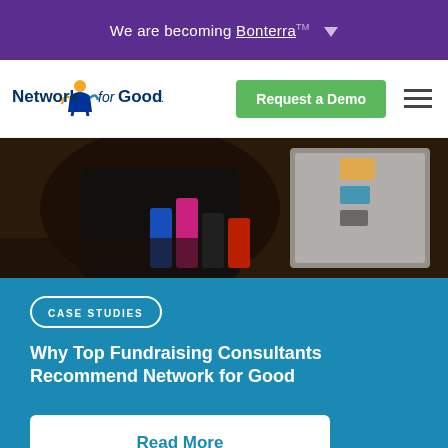We are becoming Bonterra™ ▼
[Figure (logo): Network for Good logo with person icon]
Request a Demo
[Figure (photo): Blurred photo of person at a table with colorful items and a display board]
Case Studies
Why Top Fundraising Consultants Recommend Network for Good
Read More